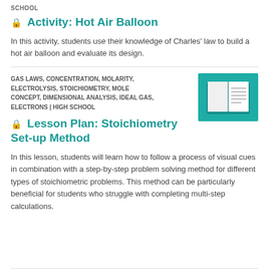SCHOOL
Activity: Hot Air Balloon
In this activity, students use their knowledge of Charles' law to build a hot air balloon and evaluate its design.
GAS LAWS, CONCENTRATION, MOLARITY, ELECTROLYSIS, STOICHIOMETRY, MOLE CONCEPT, DIMENSIONAL ANALYSIS, IDEAL GAS, ELECTRONS | HIGH SCHOOL
[Figure (illustration): Teal/green square icon with an open book illustration in white]
Lesson Plan: Stoichiometry Set-up Method
In this lesson, students will learn how to follow a process of visual cues in combination with a step-by-step problem solving method for different types of stoichiometric problems. This method can be particularly beneficial for students who struggle with completing multi-step calculations.